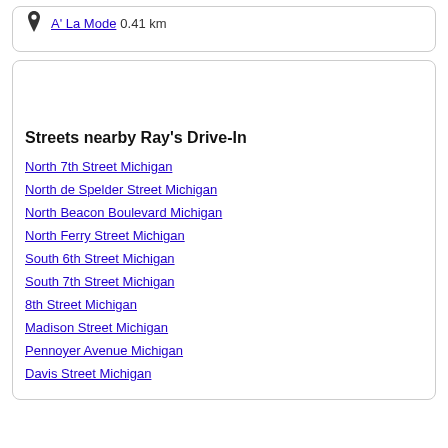A' La Mode 0.41 km
Streets nearby Ray's Drive-In
North 7th Street Michigan
North de Spelder Street Michigan
North Beacon Boulevard Michigan
North Ferry Street Michigan
South 6th Street Michigan
South 7th Street Michigan
8th Street Michigan
Madison Street Michigan
Pennoyer Avenue Michigan
Davis Street Michigan